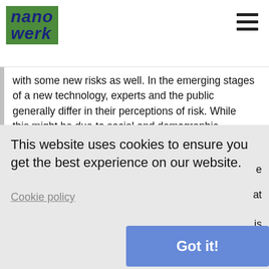[Figure (logo): Nanowerk logo — green background with dark blue italic bold text reading 'nano' on top line and 'werk' on bottom line]
with some new risks as well. In the emerging stages of a new technology, experts and the public generally differ in their perceptions of risk. While this might be due to social and demographic factors, it is generally assumed by scientists who conduct risk research that experts' risk assessments are based more strongly on actual or perceived knowledge about a technology than lay people's risk assessments. Nevertheless, whether the risks are real or not, the public perception of an emerging technology will have a major influence on the acceptance
This website uses cookies to ensure you get the best experience on our website.
Cookie policy
nanoscientists seem to be significantly more concerned